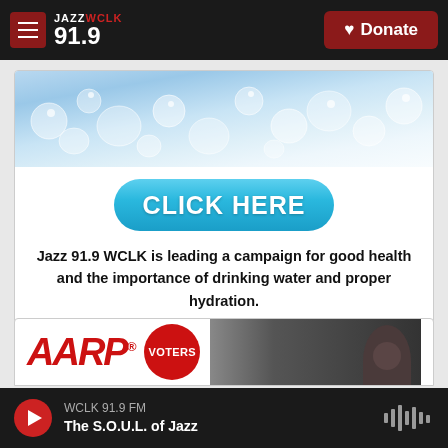JAZZ WCLK 91.9 | Donate
[Figure (illustration): Water bubbles background image with blue CLICK HERE button]
Jazz 91.9 WCLK is leading a campaign for good health and the importance of drinking water and proper hydration.
[Figure (photo): AARP logo with VOTERS badge and person photo]
WCLK 91.9 FM | The S.O.U.L. of Jazz